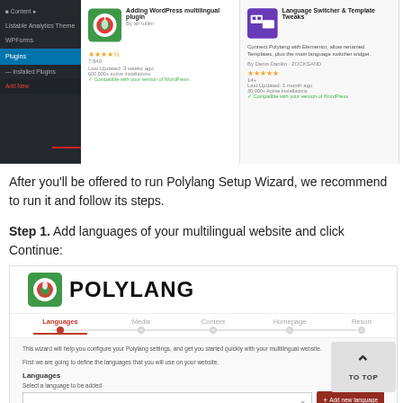[Figure (screenshot): WordPress plugin install page screenshot showing sidebar navigation with Plugins section active and a red arrow pointing to Add New option, plus multiple plugin cards including Polylang]
After you'll be offered to run Polylang Setup Wizard, we recommend to run it and follow its steps.
Step 1. Add languages of your multilingual website and click Continue:
[Figure (screenshot): Polylang Setup Wizard showing the Languages step with wizard navigation bar (Languages, Media, Content, Homepage, Resort), introductory text, language selection dropdown, Add new language button, Language/Remove table header, and English - en_GB entry]